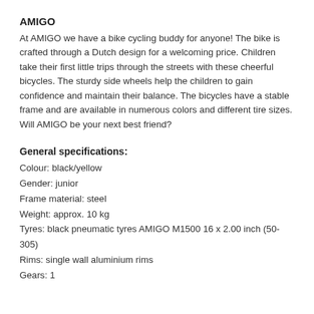AMIGO
At AMIGO we have a bike cycling buddy for anyone! The bike is crafted through a Dutch design for a welcoming price. Children take their first little trips through the streets with these cheerful bicycles. The sturdy side wheels help the children to gain confidence and maintain their balance. The bicycles have a stable frame and are available in numerous colors and different tire sizes. Will AMIGO be your next best friend?
General specifications:
Colour:  black/yellow
Gender:  junior
Frame material:  steel
Weight:  approx. 10 kg
Tyres:  black pneumatic tyres AMIGO M1500 16 x 2.00 inch (50-305)
Rims:  single wall aluminium rims
Gears:  1